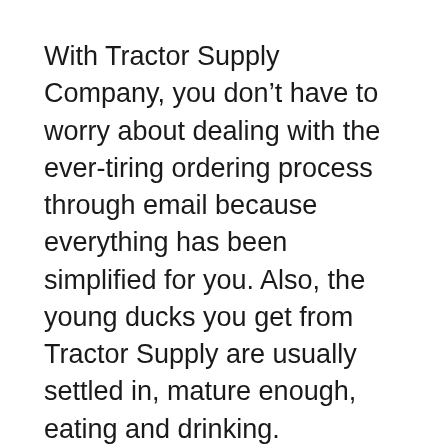With Tractor Supply Company, you don't have to worry about dealing with the ever-tiring ordering process through email because everything has been simplified for you. Also, the young ducks you get from Tractor Supply are usually settled in, mature enough, eating and drinking.
For that reason, you won't have to struggle with placing paper towels under your newly-acquired ducklings' feeders or break your back while straining to do beak dipping needed by mail-order ducks.